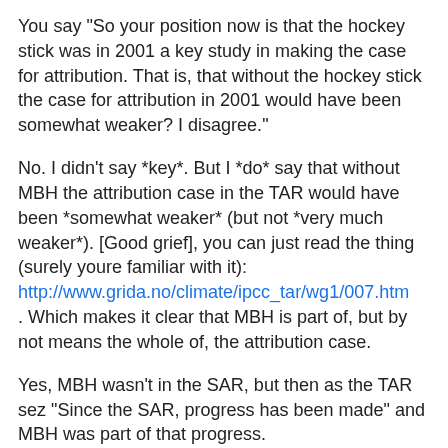You say "So your position now is that the hockey stick was in 2001 a key study in making the case for attribution. That is, that without the hockey stick the case for attribution in 2001 would have been somewhat weaker? I disagree."
No. I didn't say *key*. But I *do* say that without MBH the attribution case in the TAR would have been *somewhat weaker* (but not *very much weaker*). [Good grief], you can just read the thing (surely youre familiar with it): http://www.grida.no/climate/ipcc_tar/wg1/007.htm . Which makes it clear that MBH is part of, but by not means the whole of, the attribution case.
Yes, MBH wasn't in the SAR, but then as the TAR sez "Since the SAR, progress has been made" and MBH was part of that progress.
If you want to position yourself as some kind of referee in this [bizarre] process, you need to be much clearer about the structure of things.